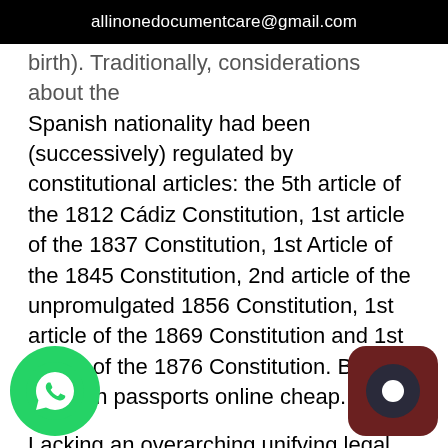allinonedocumentcare@gmail.com
birth). Traditionally, considerations about the Spanish nationality had been (successively) regulated by constitutional articles: the 5th article of the 1812 Cádiz Constitution, 1st article of the 1837 Constitution, 1st Article of the 1845 Constitution, 2nd article of the unpromulgated 1856 Constitution, 1st article of the 1869 Constitution and 1st article of the 1876 Constitution. Buy Spanish passports online cheap.
Lacking an overarching unifying legal body, the current regulation about nationality in Spain is contained in 17–28th articles of the Civil Code, 63–68th articles of the Civil Registry Law, 220–237th articles of the Civil Registry Regulations and in a number of instructions and resolutions from